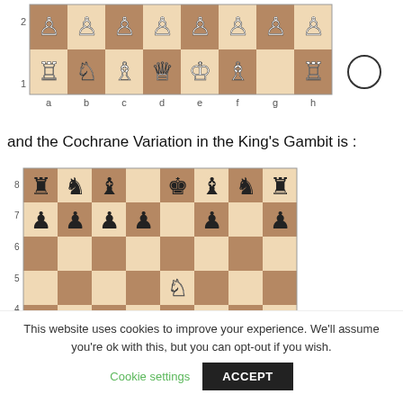[Figure (other): Chess board showing partial position, row 2 and row 1, with white pieces including rooks, knights, bishop, queen, king on rank 1, and pawns on rank 2. A white king is shown to the right outside the board. File labels a-h below.]
and the Cochrane Variation in the King's Gambit is :
[Figure (other): Chess board showing a chess position for the Cochrane Variation in King's Gambit. Ranks 2-8 visible. Black pieces on ranks 7-8: rooks, knights, bishops, king. Black pawns on rank 7 (missing e and h pawns). White knight on e5, white bishop on d4, white pawn on e4, black pawn on g4 and h4 (queen), black pawn on f3. White pawns on rank 2.]
This website uses cookies to improve your experience. We'll assume you're ok with this, but you can opt-out if you wish.
Cookie settings    ACCEPT